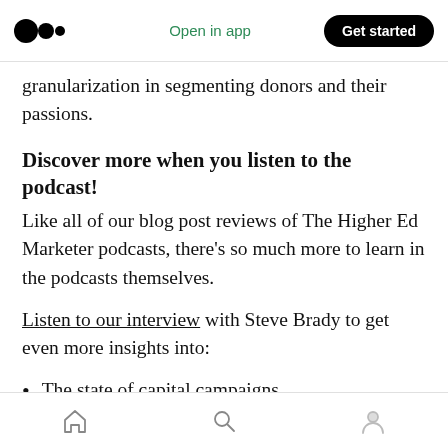Medium logo | Open in app | Get started
granularization in segmenting donors and their passions.
Discover more when you listen to the podcast!
Like all of our blog post reviews of The Higher Ed Marketer podcasts, there's so much more to learn in the podcasts themselves.
Listen to our interview with Steve Brady to get even more insights into:
The state of capital campaigns
Home | Search | Profile